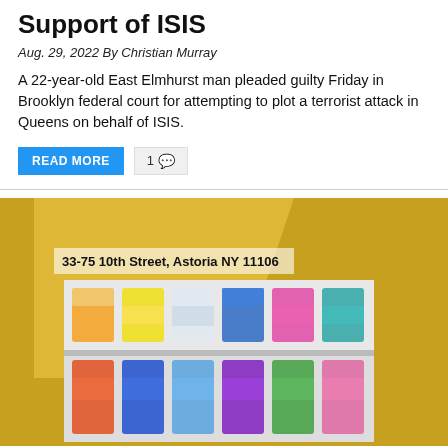Support of ISIS
Aug. 29, 2022 By Christian Murray
A 22-year-old East Elmhurst man pleaded guilty Friday in Brooklyn federal court for attempting to plot a terrorist attack in Queens on behalf of ISIS.
READ MORE   1 💬
[Figure (photo): Advertisement photo showing colorful perfume bottles on shelves with text '33-75 10th Street, Astoria NY 11106' on a yellow/gold background.]